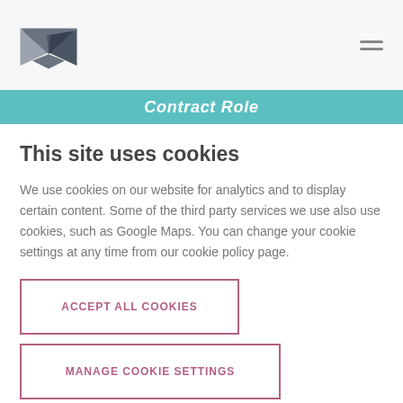[Figure (logo): Dark grey origami bird / envelope logo icon]
Contract Role
This site uses cookies
We use cookies on our website for analytics and to display certain content. Some of the third party services we use also use cookies, such as Google Maps. You can change your cookie settings at any time from our cookie policy page.
ACCEPT ALL COOKIES
MANAGE COOKIE SETTINGS